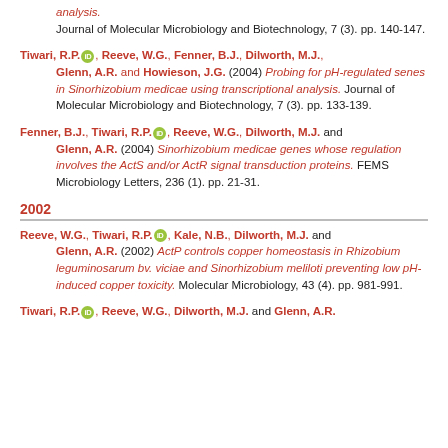analysis. Journal of Molecular Microbiology and Biotechnology, 7 (3). pp. 140-147.
Tiwari, R.P. [ORCID], Reeve, W.G., Fenner, B.J., Dilworth, M.J., Glenn, A.R. and Howieson, J.G. (2004) Probing for pH-regulated senes in Sinorhizobium medicae using transcriptional analysis. Journal of Molecular Microbiology and Biotechnology, 7 (3). pp. 133-139.
Fenner, B.J., Tiwari, R.P. [ORCID], Reeve, W.G., Dilworth, M.J. and Glenn, A.R. (2004) Sinorhizobium medicae genes whose regulation involves the ActS and/or ActR signal transduction proteins. FEMS Microbiology Letters, 236 (1). pp. 21-31.
2002
Reeve, W.G., Tiwari, R.P. [ORCID], Kale, N.B., Dilworth, M.J. and Glenn, A.R. (2002) ActP controls copper homeostasis in Rhizobium leguminosarum bv. viciae and Sinorhizobium meliloti preventing low pH-induced copper toxicity. Molecular Microbiology, 43 (4). pp. 981-991.
Tiwari, R.P. [ORCID], Reeve, W.G., Dilworth, M.J. and Glenn, A.R.